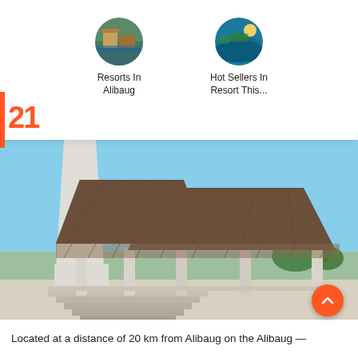[Figure (illustration): Circular thumbnail of resort/temple scene labeled 'Resorts In Alibaug']
Resorts In Alibaug
[Figure (illustration): Circular thumbnail of beach/water scene labeled 'Hot Sellers In Resort This...']
Hot Sellers In Resort This...
21
[Figure (photo): Photograph of a large open-air pavilion structure with pyramidal brown wooden roofs and white columns, with a tall white tower/spire visible behind it, under a clear blue sky.]
Located at a distance of 20 km from Alibaug on the Alibaug —